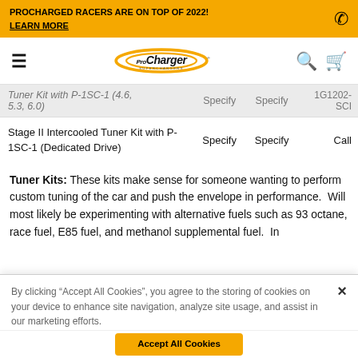PROCHARGED RACERS ARE ON TOP OF 2022! LEARN MORE
[Figure (logo): ProCharger Superchargers logo with navigation bar including hamburger menu, search and cart icons]
| Product | Specify | Specify | PN |
| --- | --- | --- | --- |
| Tuner Kit with P-1SC-1 (4.6, 5.3, 6.0) | Specify | Specify | 1G1202-SCI |
| Stage II Intercooled Tuner Kit with P-1SC-1 (Dedicated Drive) | Specify | Specify | Call |
Tuner Kits: These kits make sense for someone wanting to perform custom tuning of the car and push the envelope in performance. Will most likely be experimenting with alternative fuels such as 93 octane, race fuel, E85 fuel, and methanol supplemental fuel. In
By clicking "Accept All Cookies", you agree to the storing of cookies on your device to enhance site navigation, analyze site usage, and assist in our marketing efforts.